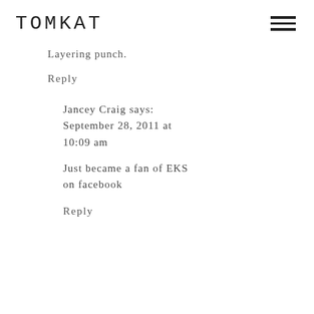TOMKAT
Layering punch.
Reply
Jancey Craig says: September 28, 2011 at 10:09 am
Just became a fan of EKS on facebook
Reply